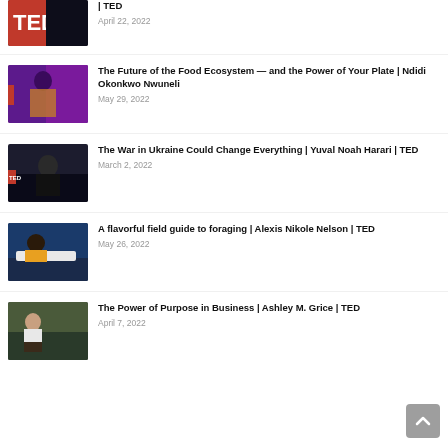| TED
April 22, 2022
The Future of the Food Ecosystem — and the Power of Your Plate | Ndidi Okonkwo Nwuneli
May 29, 2022
The War in Ukraine Could Change Everything | Yuval Noah Harari | TED
March 2, 2022
A flavorful field guide to foraging | Alexis Nikole Nelson | TED
May 26, 2022
The Power of Purpose in Business | Ashley M. Grice | TED
April 7, 2022